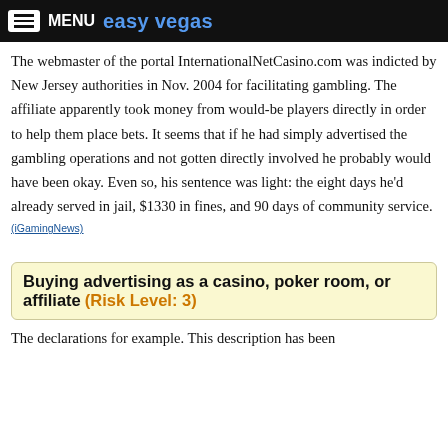MENU  easy vegas
The webmaster of the portal InternationalNetCasino.com was indicted by New Jersey authorities in Nov. 2004 for facilitating gambling.  The affiliate apparently took money from would-be players directly in order to help them place bets.  It seems that if he had simply advertised the gambling operations and not gotten directly involved he probably would have been okay.  Even so, his sentence was light: the eight days he'd already served in jail, $1330 in fines, and 90 days of community service.
(iGamingNews)
Buying advertising as a casino, poker room, or affiliate  (Risk Level: 3)
The declarations for example. This description has been...